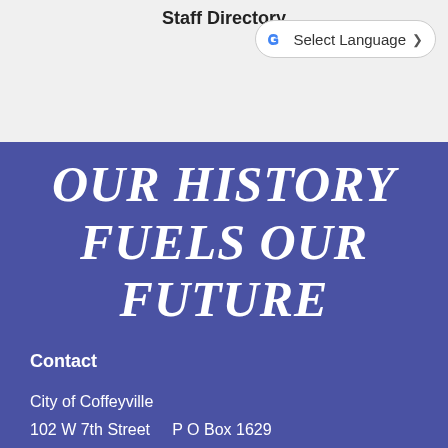Staff Directory
[Figure (screenshot): Google Translate widget button with 'Select Language' text and dropdown chevron]
OUR HISTORY FUELS OUR FUTURE
Contact
City of Coffeyville
102 W 7th Street    P O Box 1629
Coffeyville, KS 67337